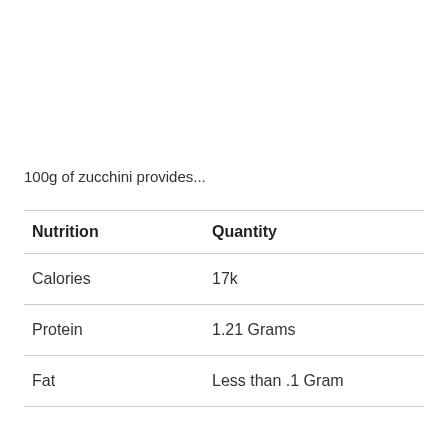100g of zucchini provides...
| Nutrition | Quantity |
| --- | --- |
| Calories | 17k |
| Protein | 1.21 Grams |
| Fat | Less than .1 Gram |